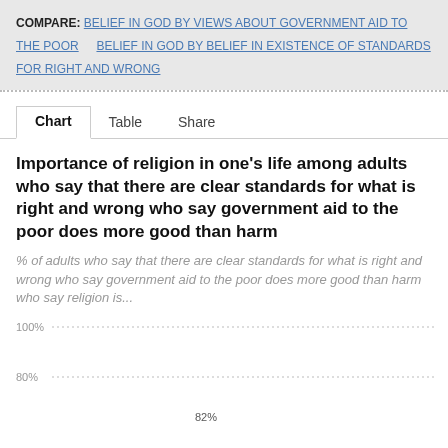COMPARE: BELIEF IN GOD BY VIEWS ABOUT GOVERNMENT AID TO THE POOR   BELIEF IN GOD BY BELIEF IN EXISTENCE OF STANDARDS FOR RIGHT AND WRONG
Chart   Table   Share
Importance of religion in one's life among adults who say that there are clear standards for what is right and wrong who say government aid to the poor does more good than harm
% of adults who say that there are clear standards for what is right and wrong who say government aid to the poor does more good than harm who say religion is...
[Figure (bar-chart): Partially visible bar chart showing percentage values. Y-axis visible with 100%, 80% gridlines and partial value ~82% visible at bottom.]